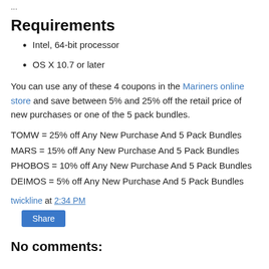...
Requirements
Intel, 64-bit processor
OS X 10.7 or later
You can use any of these 4 coupons in the Mariners online store and save between 5% and 25% off the retail price of new purchases or one of the 5 pack bundles.
TOMW = 25% off Any New Purchase And 5 Pack Bundles
MARS = 15% off Any New Purchase And 5 Pack Bundles
PHOBOS = 10% off Any New Purchase And 5 Pack Bundles
DEIMOS = 5% off Any New Purchase And 5 Pack Bundles
twickline at 2:34 PM
Share
No comments: